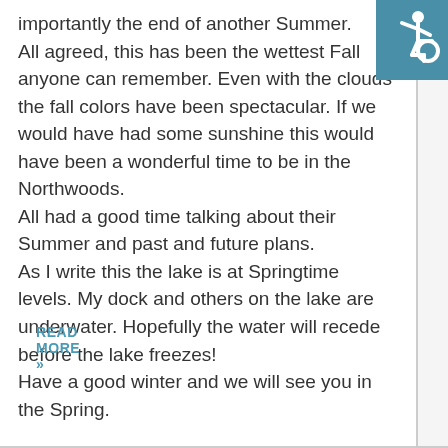importantly the end of another Summer. All agreed, this has been the wettest Fall anyone can remember. Even with the clouds the fall colors have been spectacular. If we would have had some sunshine this would have been a wonderful time to be in the Northwoods. All had a good time talking about their Summer and past and future plans. As I write this the lake is at Springtime levels. My dock and others on the lake are underwater. Hopefully the water will recede before the lake freezes! Have a good winter and we will see you in the Spring.
[Figure (illustration): Wheelchair accessibility icon — white wheelchair symbol on teal/blue square background]
READ MORE »